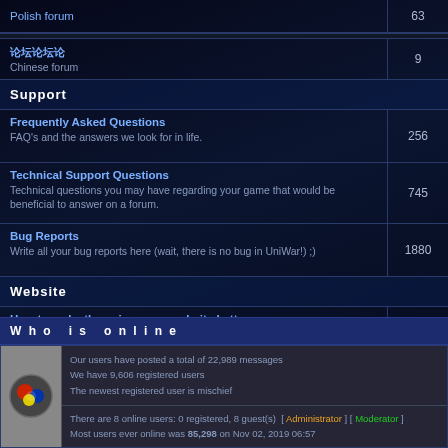| Forum | Posts |
| --- | --- |
| Polish forum | 63 |
| 论坛 Chinese forum | 9 |
| Support |  |
| Frequently Asked Questions
FAQ's and the answers we look for in life. | 256 |
| Technical Support Questions
Technical questions you may have regarding your game that would be beneficial to answer on a forum. | 745 |
| Bug Reports
Write all your bug reports here (wait, there is no bug in UniWar!) ;) | 1880 |
| Website |  |
| How to make the uniwar.com website better
Features or items you feel we are missing on uniwar.com that you think would be a great plus! | 255 |
Who is online
Our users have posted a total of 22,989 messages
We have 9,606 registered users
The newest registered user is mischief
There are 8 online users: 0 registered, 8 guest(s)  [ Administrator ] [ Moderator ]
Most users ever online was 85,298 on Nov 02, 2019 06:57